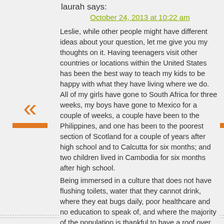laurah says:
October 24, 2013 at 10:22 am
Leslie, while other people might have different ideas about your question, let me give you my thoughts on it. Having teenagers visit other countries or locations within the United States has been the best way to teach my kids to be happy with what they have living where we do. All of my girls have gone to South Africa for three weeks, my boys have gone to Mexico for a couple of weeks, a couple have been to the Philippines, and one has been to the poorest section of Scotland for a couple of years after high school and to Calcutta for six months; and two children lived in Cambodia for six months after high school.
Being immersed in a culture that does not have flushing toilets, water that they cannot drink, where they eat bugs daily, poor healthcare and no education to speak of, and where the majority of the population is thankful to have a roof over their head at night— makes kids come home and focus on something other than themselves and giving to others.
In a society of me, me, and me in modernized societies–stepping into a country that has very little—teens learn